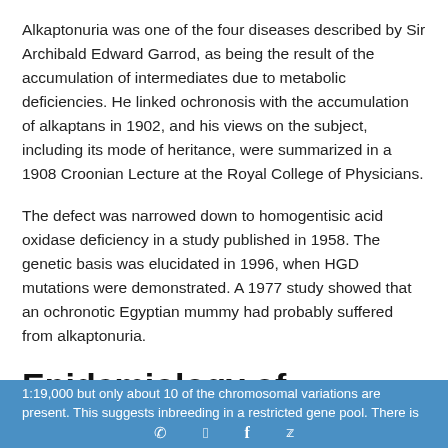Alkaptonuria was one of the four diseases described by Sir Archibald Edward Garrod, as being the result of the accumulation of intermediates due to metabolic deficiencies. He linked ochronosis with the accumulation of alkaptans in 1902, and his views on the subject, including its mode of heritance, were summarized in a 1908 Croonian Lecture at the Royal College of Physicians.
The defect was narrowed down to homogentisic acid oxidase deficiency in a study published in 1958. The genetic basis was elucidated in 1996, when HGD mutations were demonstrated. A 1977 study showed that an ochronotic Egyptian mummy had probably suffered from alkaptonuria.
Epidemiology of alkaptonuria
It occurs in 1:100,000 to 1:250,000 live births in most European countries. There is an exceptionally high incidence in Slovakia at 1:19,000 but only about 10 of the chromosomal variations are present. This suggests inbreeding in a restricted gene pool. There is
1:19,000 but only about 10 of the chromosomal variations are present. This suggests inbreeding in a restricted gene pool. There is